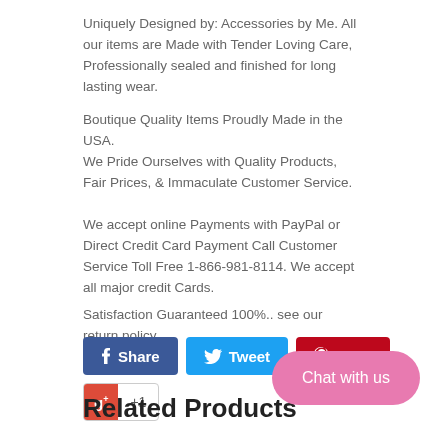Uniquely Designed by: Accessories by Me. All our items are Made with Tender Loving Care, Professionally sealed and finished for long lasting wear.
Boutique Quality Items Proudly Made in the USA.
We Pride Ourselves with Quality Products, Fair Prices, & Immaculate Customer Service.
We accept online Payments with PayPal or Direct Credit Card Payment Call Customer Service Toll Free 1-866-981-8114. We accept all major credit Cards.
Satisfaction Guaranteed 100%.. see our return policy
[Figure (other): Social sharing buttons: Facebook Share, Twitter Tweet, Pinterest Pin it, Google +1]
Related Products
[Figure (other): Chat with us button (pink rounded button)]